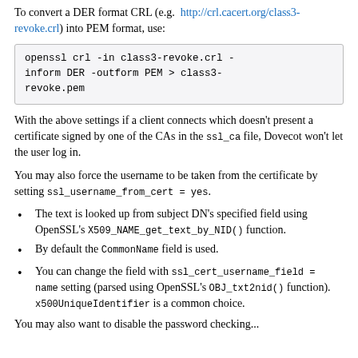To convert a DER format CRL (e.g. http://crl.cacert.org/class3-revoke.crl) into PEM format, use:
openssl crl -in class3-revoke.crl -inform DER -outform PEM > class3-revoke.pem
With the above settings if a client connects which doesn't present a certificate signed by one of the CAs in the ssl_ca file, Dovecot won't let the user log in.
You may also force the username to be taken from the certificate by setting ssl_username_from_cert = yes.
The text is looked up from subject DN's specified field using OpenSSL's X509_NAME_get_text_by_NID() function.
By default the CommonName field is used.
You can change the field with ssl_cert_username_field = name setting (parsed using OpenSSL's OBJ_txt2nid() function). x500UniqueIdentifier is a common choice.
You may also want to disable the password checking...